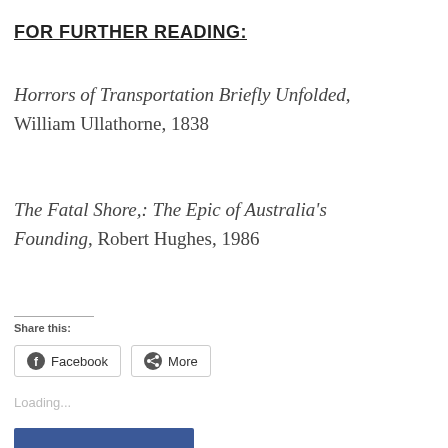FOR FURTHER READING:
Horrors of Transportation Briefly Unfolded, William Ullathorne, 1838
The Fatal Shore,: The Epic of Australia's Founding, Robert Hughes, 1986
Share this:
Facebook   More
Loading...